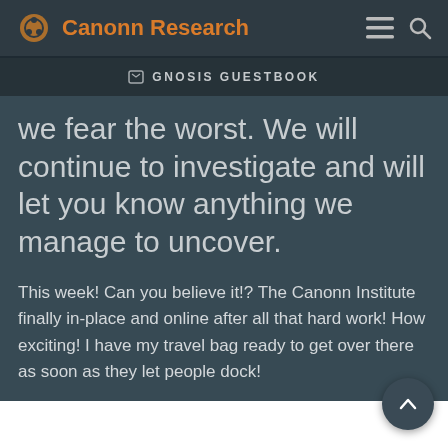Canonn Research
GNOSIS GUESTBOOK
we fear the worst. We will continue to investigate and will let you know anything we manage to uncover.
This week! Can you believe it!? The Canonn Institute finally in-place and online after all that hard work! How exciting! I have my travel bag ready to get over there as soon as they let people dock!